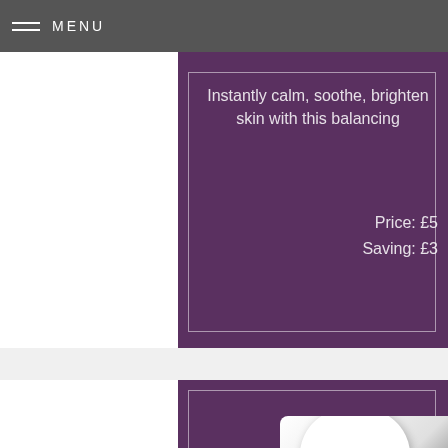MENU
Instantly calm, soothe, brighten skin with this balancing
Price: £5
Saving: £3
[Figure (photo): Product photo of a white skincare bottle/container on a purple background, partially visible]